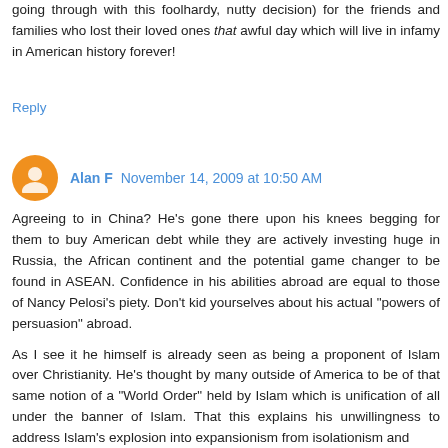going through with this foolhardy, nutty decision) for the friends and families who lost their loved ones that awful day which will live in infamy in American history forever!
Reply
Alan F  November 14, 2009 at 10:50 AM
Agreeing to in China? He's gone there upon his knees begging for them to buy American debt while they are actively investing huge in Russia, the African continent and the potential game changer to be found in ASEAN. Confidence in his abilities abroad are equal to those of Nancy Pelosi's piety. Don't kid yourselves about his actual "powers of persuasion" abroad.
As I see it he himself is already seen as being a proponent of Islam over Christianity. He's thought by many outside of America to be of that same notion of a "World Order" held by Islam which is unification of all under the banner of Islam. That this explains his unwillingness to address Islam's explosion into expansionism from isolationism and